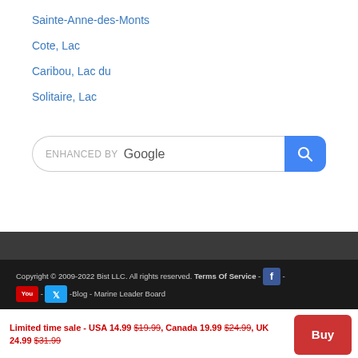Sainte-Anne-des-Monts
Cote, Lac
Caribou, Lac du
Solitaire, Lac
[Figure (screenshot): Enhanced by Google search bar with blue search button]
Copyright © 2009-2022 Bist LLC. All rights reserved. Terms Of Service - [Facebook icon] - [YouTube icon] - [Twitter icon] -Blog - Marine Leader Board
Limited time sale - USA 14.99 $19.99, Canada 19.99 $24.99, UK 24.99 $31.99